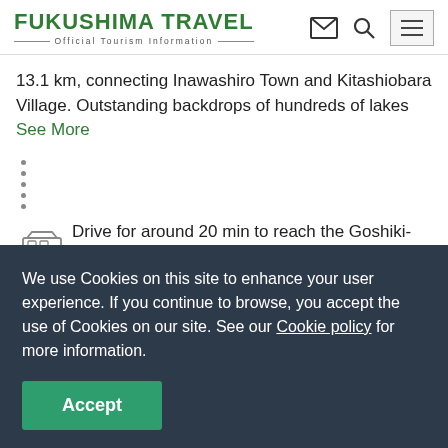FUKUSHIMA TRAVEL — Official Tourism Information
13.1 km, connecting Inawashiro Town and Kitashiobara Village. Outstanding backdrops of hundreds of lakes See More
Drive for around 20 min to reach the Goshiki-numa Ponds.
View directions
We use Cookies on this site to enhance your user experience. If you continue to browse, you accept the use of Cookies on our site. See our Cookie policy for more information.
Accept